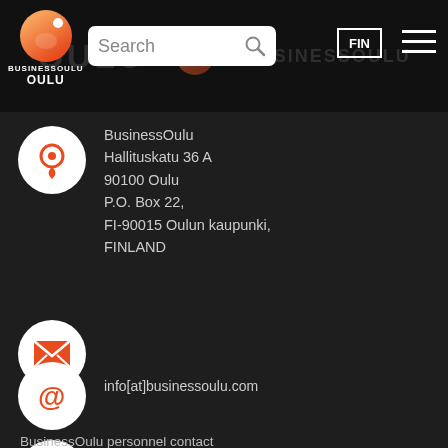[Figure (screenshot): BusinessOulu website header with logo, search bar, FIN button and hamburger menu]
BusinessOulu
Hallituskatu 36 A
90100 Oulu
P.O. Box 22,
FI-90015 Oulun kaupunki,
FINLAND
+358 (0)8 558 558 10
info[at]businessoulu.com
BusinessOulu personnel contact information
Accessibility Statement
VOIMMEKO
AUTTAA?